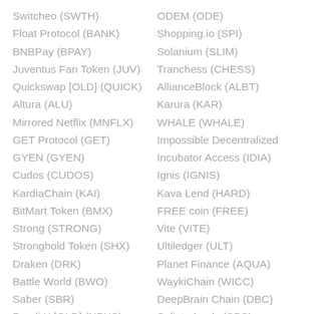Switcheo (SWTH)
Float Protocol (BANK)
BNBPay (BPAY)
Juventus Fan Token (JUV)
Quickswap [OLD] (QUICK)
Altura (ALU)
Mirrored Netflix (MNFLX)
GET Protocol (GET)
GYEN (GYEN)
Cudos (CUDOS)
KardiaChain (KAI)
BitMart Token (BMX)
Strong (STRONG)
Stronghold Token (SHX)
Draken (DRK)
Battle World (BWO)
Saber (SBR)
Pundi X [OLD] (NPXS)
Frontier (FRONT)
ODEM (ODE)
Shopping.io (SPI)
Solanium (SLIM)
Tranchess (CHESS)
AllianceBlock (ALBT)
Karura (KAR)
WHALE (WHALE)
Impossible Decentralized
Incubator Access (IDIA)
Ignis (IGNIS)
Kava Lend (HARD)
FREE coin (FREE)
Vite (VITE)
Ultiledger (ULT)
Planet Finance (AQUA)
WaykiChain (WICC)
DeepBrain Chain (DBC)
Splinterlands (SPS)
Stake DAO (SDT)